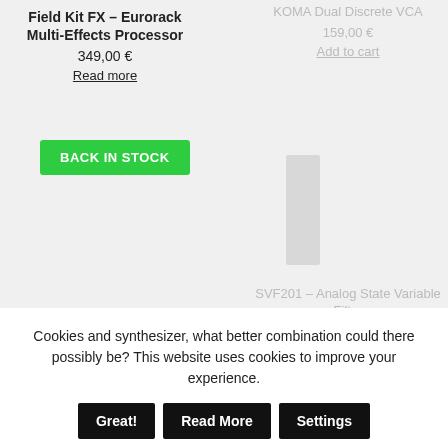Field Kit FX – Eurorack Multi-Effects Processor
349,00 €
Read more
BACK IN STOCK
KOMA Dual Discrete VCA
159,00 €
Add to cart
[Figure (photo): Partially visible tall narrow eurorack module image in gray]
SVF201 – Analog State Variable Filter
Cookies and synthesizer, what better combination could there possibly be? This website uses cookies to improve your experience.
Great!
Read More
Settings